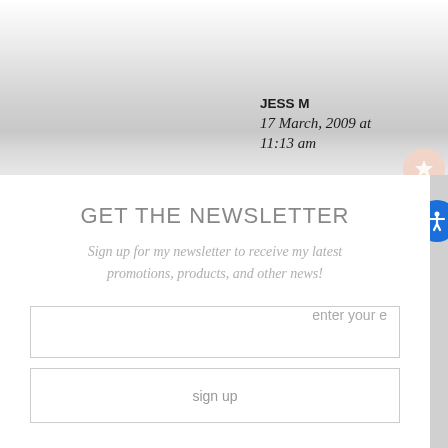JESS M
17 March, 2009 at 11:13 am
GET THE NEWSLETTER
Sign up for my newsletter to receive my latest promotions, products, and other news!
[Figure (other): Email input field with placeholder 'enter your e']
[Figure (other): Sign up button with text 'sign up']